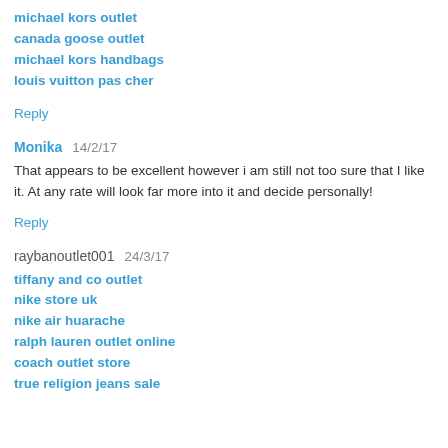michael kors outlet
canada goose outlet
michael kors handbags
louis vuitton pas cher
Reply
Monika  14/2/17
That appears to be excellent however i am still not too sure that I like it. At any rate will look far more into it and decide personally!
Reply
raybanoutlet001  24/3/17
tiffany and co outlet
nike store uk
nike air huarache
ralph lauren outlet online
coach outlet store
true religion jeans sale